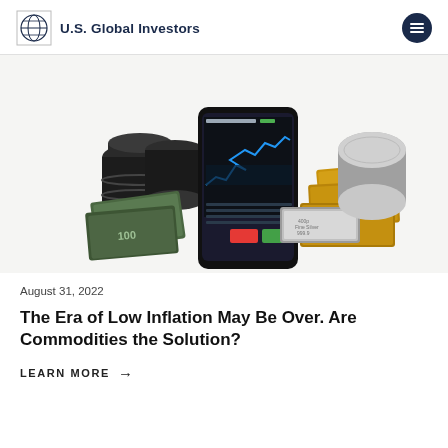U.S. Global Investors
[Figure (photo): A promotional image showing commodities and financial instruments: oil barrels, stacks of US dollar banknotes, gold bars, silver bars, and a smartphone displaying a stock trading chart with market data.]
August 31, 2022
The Era of Low Inflation May Be Over. Are Commodities the Solution?
LEARN MORE →